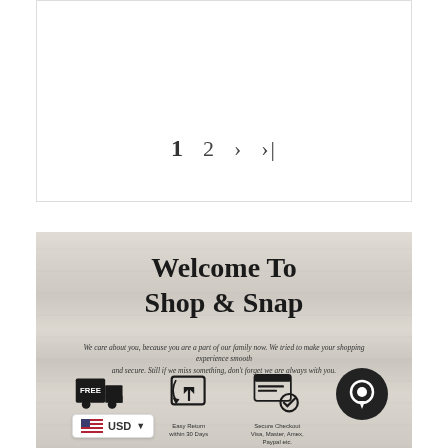[Figure (screenshot): Pagination controls showing page 1 selected, page 2, next arrow, and last page arrow on a white background with border]
[Figure (infographic): Welcome To Shop & Snap banner on wood-textured background with subtitle text and three feature icons: Free Shipping, Easy Return within 30 Days, Secure Checkout (Visa, Master, Amex, Paypal etc.)]